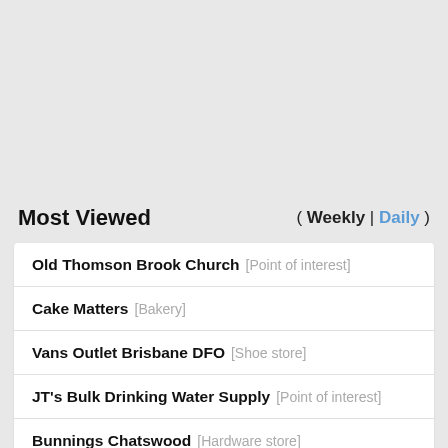Most Viewed ( Weekly | Daily )
Old Thomson Brook Church [Point of interest]
Cake Matters [Bakery]
Vans Outlet Brisbane DFO [Shoe store]
JT's Bulk Drinking Water Supply [Point of interest]
Bunnings Chatswood [Hardware store]
Silly Solly's Flagstone [Store]
Bunnings Stafford [Hardware store]
Midlife Crisis Customs [...]